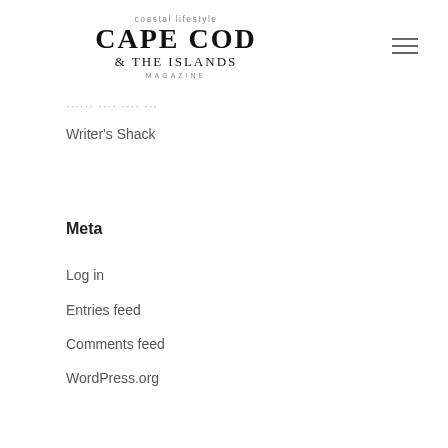[Figure (logo): Cape Cod & The Islands Magazine logo with 'coastal lifestyle' tagline above and 'MAGAZINE' below]
[Figure (illustration): Hamburger menu icon (three horizontal lines)]
······ ···· ···· ···
Writer's Shack
Meta
Log in
Entries feed
Comments feed
WordPress.org